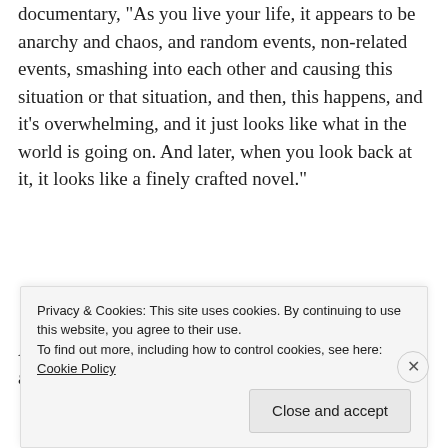documentary, "As you live your life, it appears to be anarchy and chaos, and random events, non-related events, smashing into each other and causing this situation or that situation, and then, this happens, and it's overwhelming, and it just looks like what in the world is going on. And later, when you look back at it, it looks like a finely crafted novel."
[Figure (other): Advertisement banner with dark background: 'Turn your blog into a money-making online course.' with arrow icon and tree logo]
And so it goes for most of us. We know we are always
Privacy & Cookies: This site uses cookies. By continuing to use this website, you agree to their use.
To find out more, including how to control cookies, see here: Cookie Policy
Close and accept